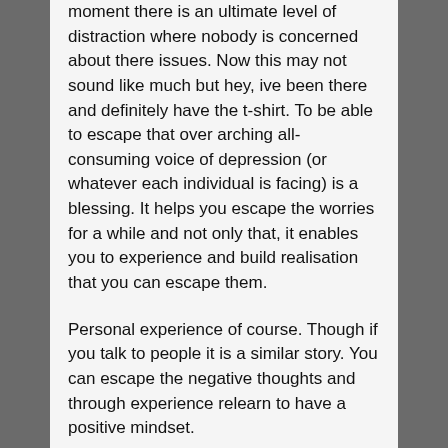moment there is an ultimate level of distraction where nobody is concerned about there issues. Now this may not sound like much but hey, ive been there and definitely have the t-shirt. To be able to escape that over arching all-consuming voice of depression (or whatever each individual is facing) is a blessing. It helps you escape the worries for a while and not only that, it enables you to experience and build realisation that you can escape them.
Personal experience of course. Though if you talk to people it is a similar story. You can escape the negative thoughts and through experience relearn to have a positive mindset.
Thankyou for listening………..
PS don't forget that our Trustee is doing the Great North Swim on Saturday 9th June